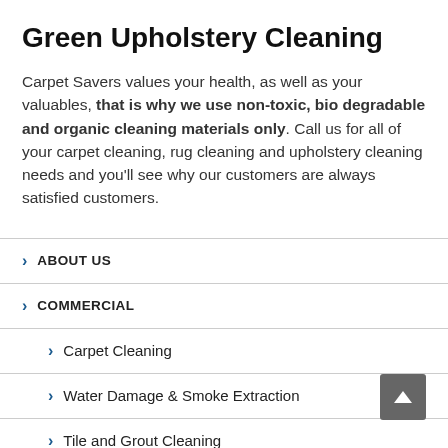Green Upholstery Cleaning
Carpet Savers values your health, as well as your valuables, that is why we use non-toxic, bio degradable and organic cleaning materials only. Call us for all of your carpet cleaning, rug cleaning and upholstery cleaning needs and you'll see why our customers are always satisfied customers.
> ABOUT US
> COMMERCIAL
> Carpet Cleaning
> Water Damage & Smoke Extraction
> Tile and Grout Cleaning